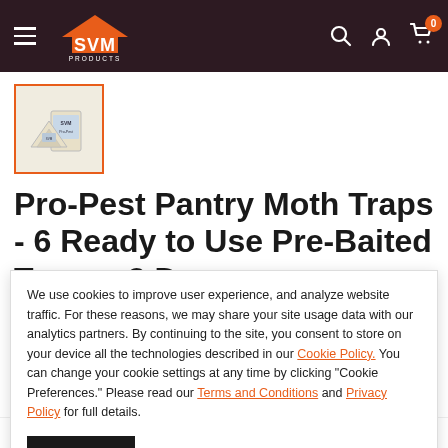SVM Products navigation header
[Figure (photo): Thumbnail image of Pro-Pest Pantry Moth Traps product package with orange border]
Pro-Pest Pantry Moth Traps - 6 Ready to Use Pre-Baited Traps - 3
We use cookies to improve user experience, and analyze website traffic. For these reasons, we may share your site usage data with our analytics partners. By continuing to the site, you consent to store on your device all the technologies described in our Cookie Policy. You can change your cookie settings at any time by clicking "Cookie Preferences." Please read our Terms and Conditions and Privacy Policy for full details.
Pay in 4 interest-free installments for orders over $50 with